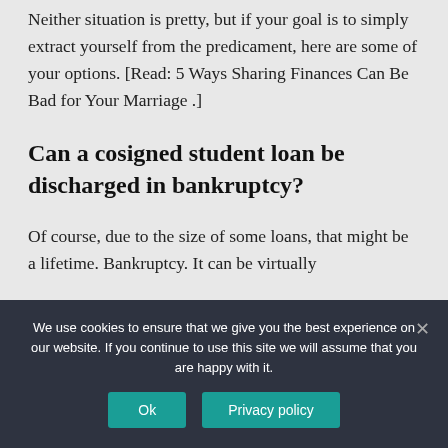Neither situation is pretty, but if your goal is to simply extract yourself from the predicament, here are some of your options. [Read: 5 Ways Sharing Finances Can Be Bad for Your Marriage .]
Can a cosigned student loan be discharged in bankruptcy?
Of course, due to the size of some loans, that might be a lifetime. Bankruptcy. It can be virtually
We use cookies to ensure that we give you the best experience on our website. If you continue to use this site we will assume that you are happy with it.